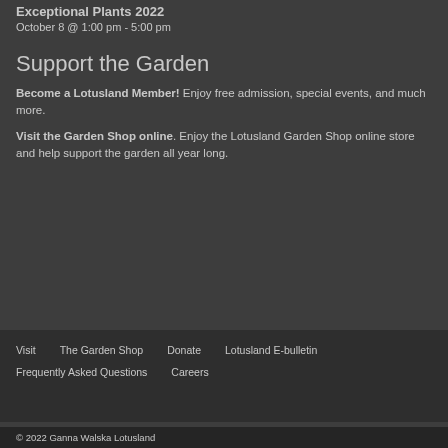Exceptional Plants 2022
October 8 @ 1:00 pm - 5:00 pm
Support the Garden
Become a Lotusland Member! Enjoy free admission, special events, and much more.
Visit the Garden Shop online. Enjoy the Lotusland Garden Shop online store and help support the garden all year long.
Visit | The Garden Shop | Donate | Lotusland E-bulletin | Frequently Asked Questions | Careers
© 2022 Ganna Walska Lotusland